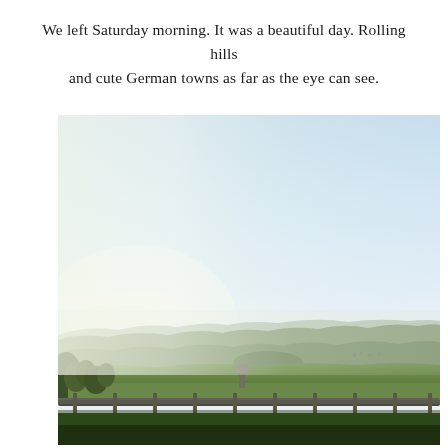We left Saturday morning. It was a beautiful day. Rolling hills and cute German towns as far as the eye can see.
[Figure (photo): A landscape photograph taken from a moving train or car, showing rolling green hills, distant German towns, a light blue sky with haze near the horizon, a guardrail in the foreground, and trees on the left side.]